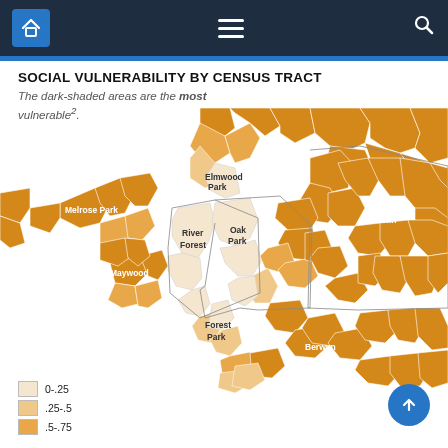Navigation bar with home, menu, and search icons
SOCIAL VULNERABILITY BY CENSUS TRACT
The dark-shaded areas are the most vulnerable².
[Figure (map): Choropleth map showing social vulnerability by census tract for communities in Cook County west of Chicago including Melrose Park, Elmwood Park, Galewood, River Forest, Oak Park, Maywood, Forest Park, Austin, Berwyn, and Cicero. Areas shaded in darker orange indicate higher social vulnerability (0.75-1.0), medium orange for 0.5-0.75, light orange for 0.25-0.5, and very light/cream for 0-0.25. Most outer areas are dark orange while River Forest and Oak Park are lighter shaded.]
0-.25
.25-.5
.5-.75